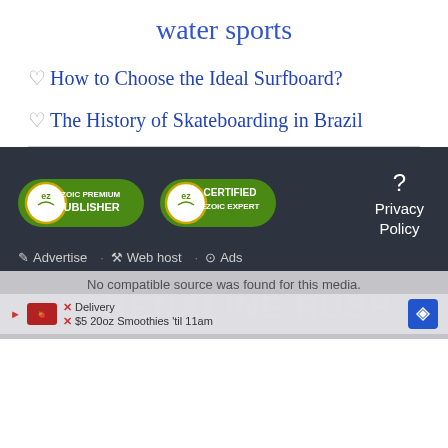water sports
♡ How to Choose the Ideal Surfboard?
♡ The History of Skateboarding in Brazil
[Figure (logo): Ezoic Premium Publisher badge - green rounded badge with Ezoic logo]
[Figure (logo): Certified Ezoic Expert badge - green rounded badge with Ezoic logo]
? Privacy Policy
✏ Advertise · 🔧 Web host · ⊙ Ads
No compatible source was found for this media.
× Delivery  $5 20oz Smoothies 'til 11am